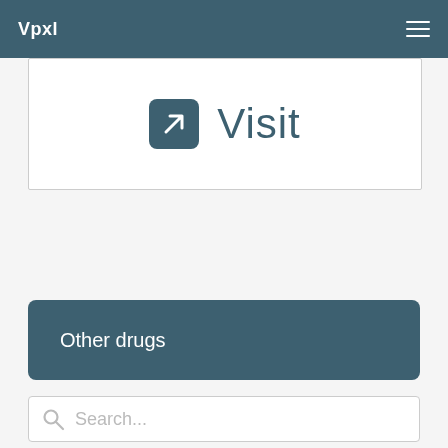Vpxl
[Figure (screenshot): Visit button with arrow icon in a white card with border]
Other drugs
Search...